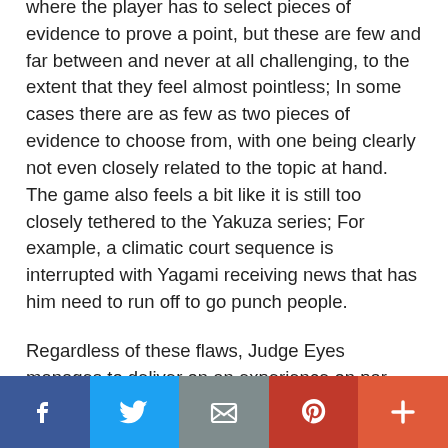where the player has to select pieces of evidence to prove a point, but these are few and far between and never at all challenging, to the extent that they feel almost pointless; In some cases there are as few as two pieces of evidence to choose from, with one being clearly not even closely related to the topic at hand. The game also feels a bit like it is still too closely tethered to the Yakuza series; For example, a climatic court sequence is interrupted with Yagami receiving news that has him need to run off to go punch people.
Regardless of these flaws, Judge Eyes manages to deliver on an experience on par with, if not superior to many of the Yakuza series' games. The shift to a private investigator as the protagonist allows for far better synergy with the series' staple conspiracy-centric plots, and the result is a story far more interesting than many of the previous games', that still manages to remain believable to some extent (there are no “secret brother in the CIA” twists in here). While some new elements are problematic, the base action gameplay
[Figure (infographic): Social media sharing bar with five buttons: Facebook (dark blue), Twitter (light blue), Email/envelope (gray), Pinterest (red), and More/plus (orange-red)]